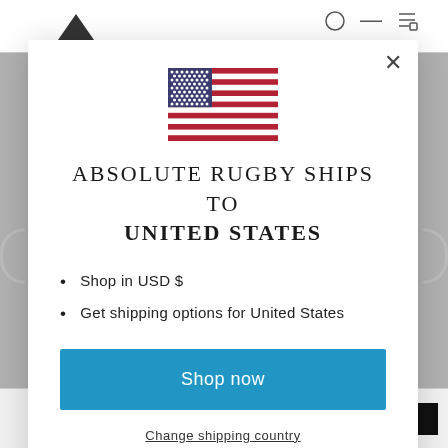[Figure (screenshot): Background of a retail website for Absolute Rugby, showing navigation bar, partial content behind a modal overlay]
[Figure (illustration): United States flag SVG icon displayed at the top center of the modal dialog]
ABSOLUTE RUGBY SHIPS TO UNITED STATES
Shop in USD $
Get shipping options for United States
Shop now
Change shipping country